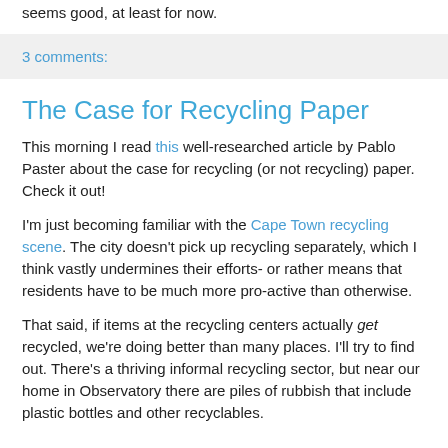seems good, at least for now.
3 comments:
The Case for Recycling Paper
This morning I read this well-researched article by Pablo Paster about the case for recycling (or not recycling) paper. Check it out!
I'm just becoming familiar with the Cape Town recycling scene. The city doesn't pick up recycling separately, which I think vastly undermines their efforts- or rather means that residents have to be much more pro-active than otherwise.
That said, if items at the recycling centers actually get recycled, we're doing better than many places. I'll try to find out. There's a thriving informal recycling sector, but near our home in Observatory there are piles of rubbish that include plastic bottles and other recyclables.